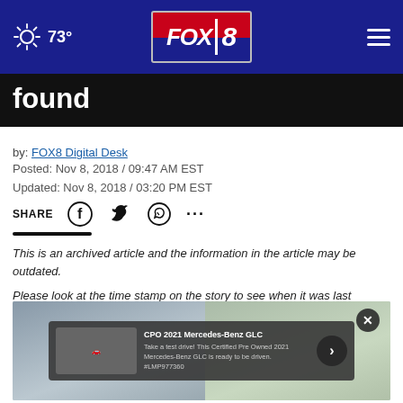FOX 8 | 73°
found
by: FOX8 Digital Desk
Posted: Nov 8, 2018 / 09:47 AM EST
Updated: Nov 8, 2018 / 03:20 PM EST
SHARE
This is an archived article and the information in the article may be outdated.
Please look at the time stamp on the story to see when it was last updated.
[Figure (photo): Split image showing two faces/people with an advertisement overlay for CPO 2021 Mercedes-Benz GLC]